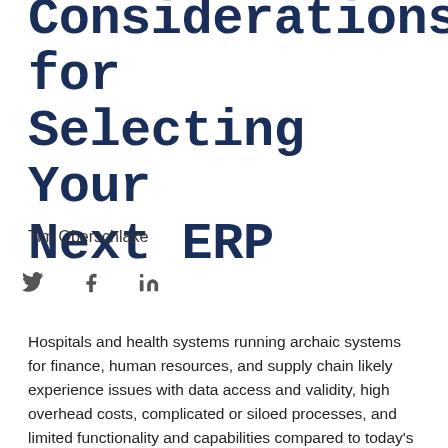Considerations for Selecting Your Next ERP
Tim Oberschlake
Hospitals and health systems running archaic systems for finance, human resources, and supply chain likely experience issues with data access and validity, high overhead costs, complicated or siloed processes, and limited functionality and capabilities compared to today's all-in-one cloud solutions. For healthcare CIOs looking to move to an enterprise system in the cloud,